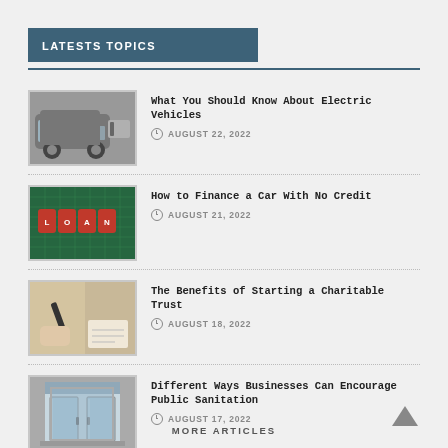LATESTS TOPICS
What You Should Know About Electric Vehicles | AUGUST 22, 2022
How to Finance a Car With No Credit | AUGUST 21, 2022
The Benefits of Starting a Charitable Trust | AUGUST 18, 2022
Different Ways Businesses Can Encourage Public Sanitation | AUGUST 17, 2022
MORE ARTICLES